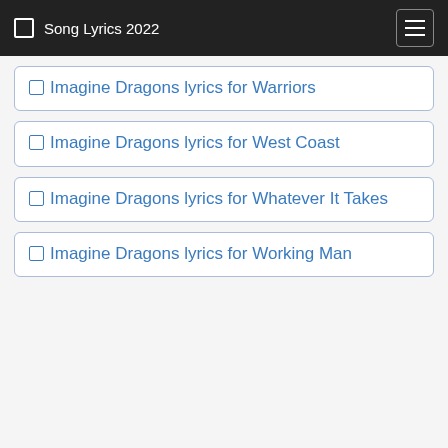Song Lyrics 2022
Imagine Dragons lyrics for Warriors
Imagine Dragons lyrics for West Coast
Imagine Dragons lyrics for Whatever It Takes
Imagine Dragons lyrics for Working Man